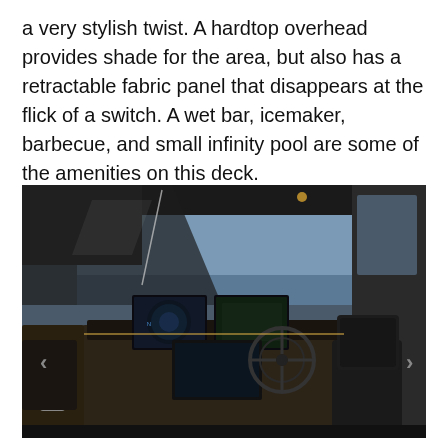a very stylish twist. A hardtop overhead provides shade for the area, but also has a retractable fabric panel that disappears at the flick of a switch. A wet bar, icemaker, barbecue, and small infinity pool are some of the amenities on this deck.
[Figure (photo): Interior shot of a luxury yacht helm/cockpit area showing navigation screens, a steering wheel, leather captain's seats, and large windshield with ocean view visible in the background.]